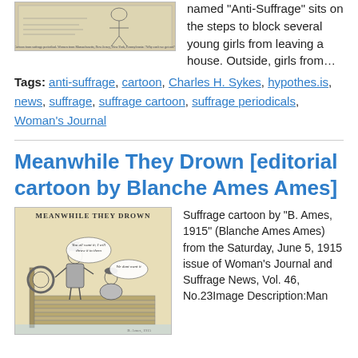[Figure (illustration): Newspaper cartoon clipping, horizontal layout showing a cartoon figure named Anti-Suffrage sitting on steps blocking young girls from leaving a house.]
named "Anti-Suffrage" sits on the steps to block several young girls from leaving a house. Outside, girls from…
Tags: anti-suffrage, cartoon, Charles H. Sykes, hypothes.is, news, suffrage, suffrage cartoon, suffrage periodicals, Woman's Journal
Meanwhile They Drown [editorial cartoon by Blanche Ames Ames]
[Figure (illustration): Suffrage cartoon titled MEANWHILE THEY DROWN by B. Ames, 1915 (Blanche Ames Ames), showing a man and woman on a dock with a life preserver, from the Saturday June 5 1915 issue of Woman's Journal and Suffrage News.]
Suffrage cartoon by "B. Ames, 1915" (Blanche Ames Ames) from the Saturday, June 5, 1915 issue of Woman's Journal and Suffrage News, Vol. 46, No.23Image Description:Man